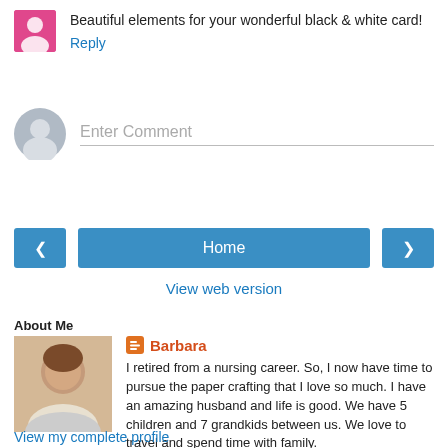Beautiful elements for your wonderful black & white card!
Reply
Enter Comment
Home
View web version
About Me
[Figure (photo): Profile photo of Barbara]
Barbara
I retired from a nursing career. So, I now have time to pursue the paper crafting that I love so much. I have an amazing husband and life is good. We have 5 children and 7 grandkids between us. We love to travel and spend time with family.
View my complete profile